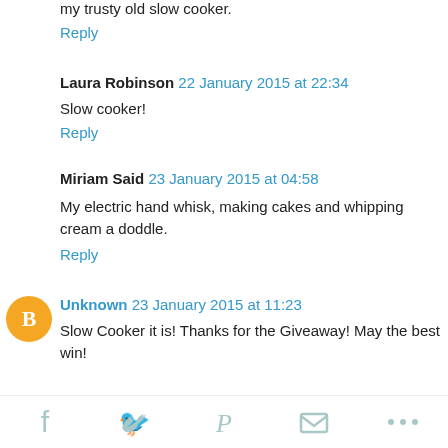my trusty old slow cooker.
Reply
Laura Robinson  22 January 2015 at 22:34
Slow cooker!
Reply
Miriam Said  23 January 2015 at 04:58
My electric hand whisk, making cakes and whipping cream a doddle.
Reply
Unknown  23 January 2015 at 11:23
Slow Cooker it is! Thanks for the Giveaway! May the best win!